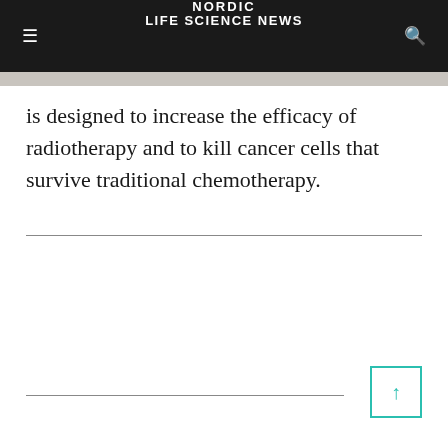NORDIC LIFE SCIENCE NEWS
is designed to increase the efficacy of radiotherapy and to kill cancer cells that survive traditional chemotherapy.